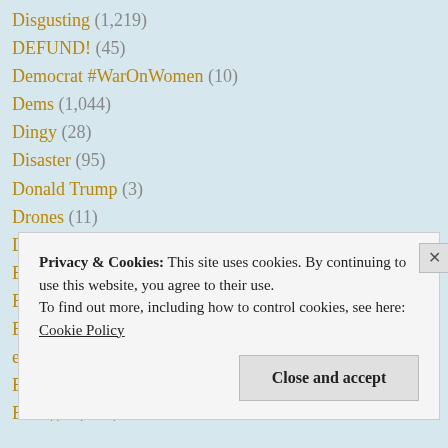Disgusting (1,219)
DEFUND! (45)
Democrat #WarOnWomen (10)
Dems (1,044)
Dingy (28)
Disaster (95)
Donald Trump (3)
Drones (11)
Dumb! (802)
Ebola (17)
Egypt (20)
El-Rushbo (16)
emailgate (3)
Enchanted Media (61)
Enough! (454)
Privacy & Cookies: This site uses cookies. By continuing to use this website, you agree to their use. To find out more, including how to control cookies, see here: Cookie Policy
Close and accept